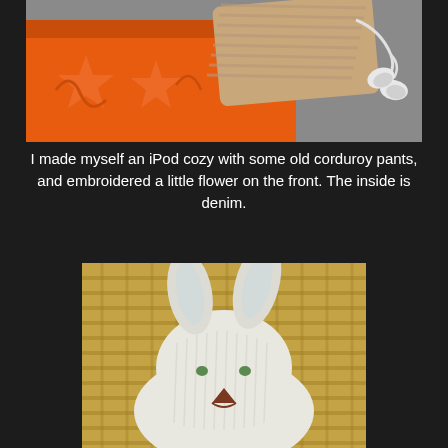[Figure (photo): Overhead photo of an orange decorative box with star/tribal patterns, a striped fabric iPod cozy, and white earbuds on a gray surface.]
I made myself an iPod cozy with some old corduroy pants, and embroidered a little flower on the front. The inside is denim.
[Figure (photo): Close-up photo of a soft white stuffed bunny toy with ribbed fabric and embroidered face, resting on a woven straw/rattan surface.]